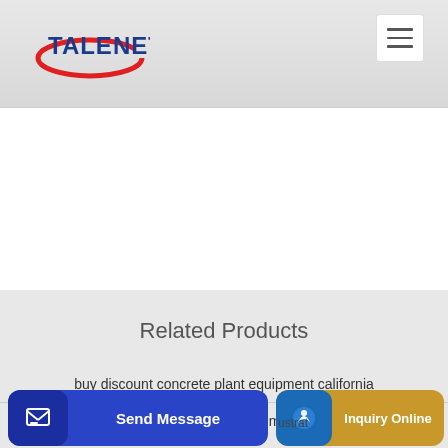TALENET
Related Products
buy discount concrete plant equipment california
Truck-Mounted Concrete Pump Act Group
Send Message | Inquiry Online